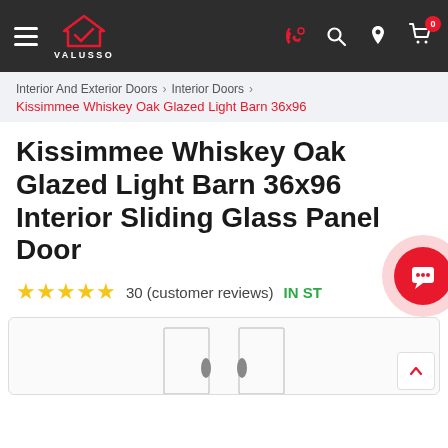VALUSSO
Interior And Exterior Doors > Interior Doors > Kissimmee Whiskey Oak Glazed Light Barn 36x96
Kissimmee Whiskey Oak Glazed Light Barn 36x96 Interior Sliding Glass Panel Door
30 (customer reviews) IN STOCK
[Figure (photo): Partial product image of barn door at bottom of page]